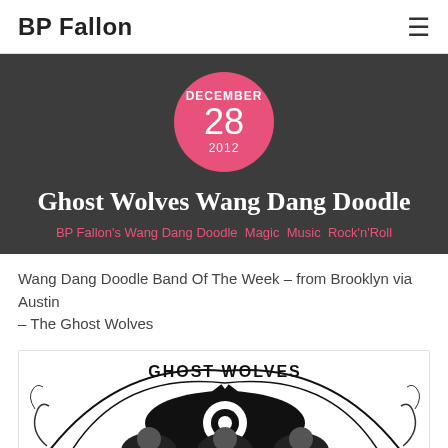BP Fallon
[Figure (other): Date badge circle: DECEMBER 28 2012 in pink circle on dark background]
Ghost Wolves Wang Dang Doodle
BP Fallon's Wang Dang Doodle  Magic  Music  Rock'n'Roll
Wang Dang Doodle Band Of The Week – from Brooklyn via Austin
– The Ghost Wolves
[Figure (illustration): Ghost Wolves band logo - black and white illustration with ornate design and text reading GHOST WOLVES]